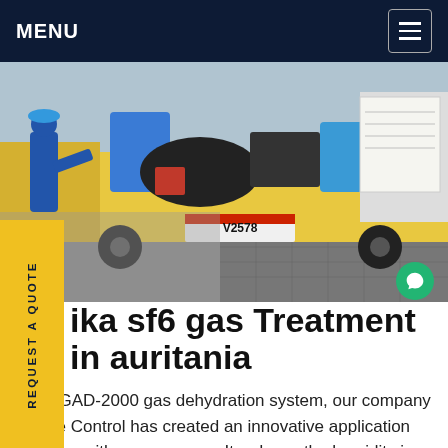MENU
[Figure (photo): A worker in blue coveralls and helmet unloading equipment from a yellow flatbed truck at an industrial site. License plate V2578 visible on truck. Blue barrels and black hoses visible in truck bed.]
ika sf6 gas Treatment in auritania
h the GAD-2000 gas dehydration system, our company Mobile Control has created an innovative application together with our company. It reduces the humidity in gas-filled equipment efficiently and